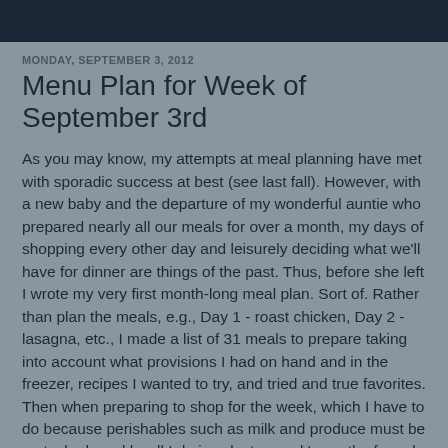MONDAY, SEPTEMBER 3, 2012
Menu Plan for Week of September 3rd
As you may know, my attempts at meal planning have met with sporadic success at best (see last fall). However, with a new baby and the departure of my wonderful auntie who prepared nearly all our meals for over a month, my days of shopping every other day and leisurely deciding what we'll have for dinner are things of the past. Thus, before she left I wrote my very first month-long meal plan. Sort of. Rather than plan the meals, e.g., Day 1 - roast chicken, Day 2 - lasagna, etc., I made a list of 31 meals to prepare taking into account what provisions I had on hand and in the freezer, recipes I wanted to try, and tried and true favorites. Then when preparing to shop for the week, which I have to do because perishables such as milk and produce must be restocked weekly, all I do is select a week's worth of meals from the list to make my menu. Here is what's on the agenda for this week: